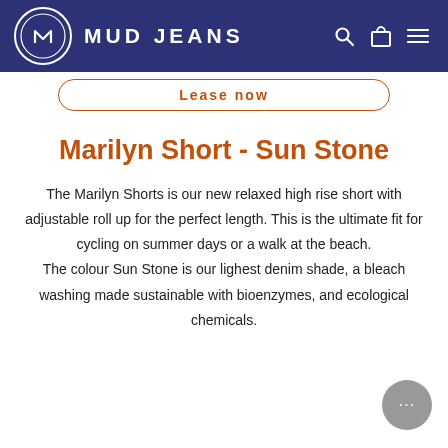MUD JEANS
Lease now
Marilyn Short - Sun Stone
The Marilyn Shorts is our new relaxed high rise short with adjustable roll up for the perfect length. This is the ultimate fit for cycling on summer days or a walk at the beach.
The colour Sun Stone is our lighest denim shade, a bleach washing made sustainable with bioenzymes, and ecological chemicals.